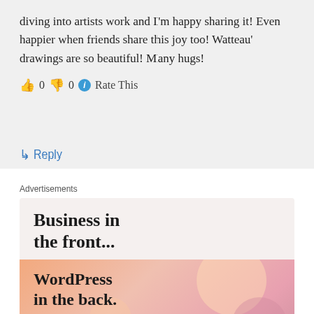diving into artists work and I'm happy sharing it! Even happier when friends share this joy too! Watteau' drawings are so beautiful! Many hugs!
👍 0 👎 0 ℹ Rate This
↳ Reply
Advertisements
[Figure (screenshot): WordPress advertisement: 'Business in the front...' text in dark on light background, followed by 'WordPress in the back.' text on colorful gradient background with circular shapes, WordPress logo and 'Learn more' button at bottom.]